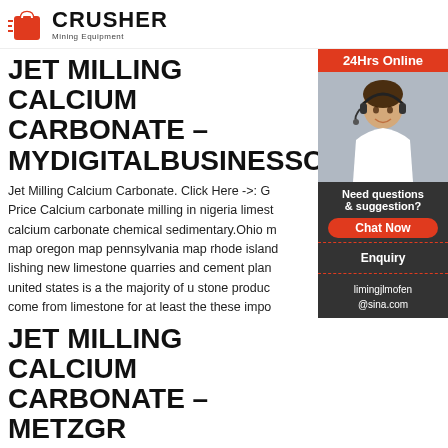CRUSHER Mining Equipment
JET MILLING CALCIUM CARBONATE – MYDIGITALBUSINESSCARD.NL
Jet Milling Calcium Carbonate. Click Here ->: G... Price Calcium carbonate milling in nigeria limestone calcium carbonate chemical sedimentary.Ohio m map oregon map pennsylvania map rhode island lishing new limestone quarries and cement plant united states is a the majority of u stone produc come from limestone for at least the these impo
JET MILLING CALCIUM CARBONATE – METZGR GRAF.DE
Calcium carbonate milling in nigeria limestone t carbonate chemical sedimentary.Ohio map oklahoma map